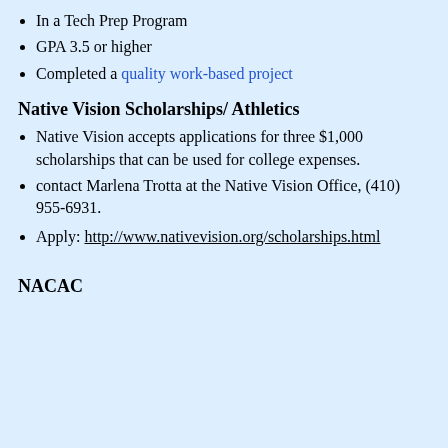In a Tech Prep Program
GPA 3.5 or higher
Completed a quality work-based project
Native Vision Scholarships/ Athletics
Native Vision accepts applications for three $1,000 scholarships that can be used for college expenses.
contact Marlena Trotta at the Native Vision Office, (410) 955-6931.
Apply: http://www.nativevision.org/scholarships.html
NACAC